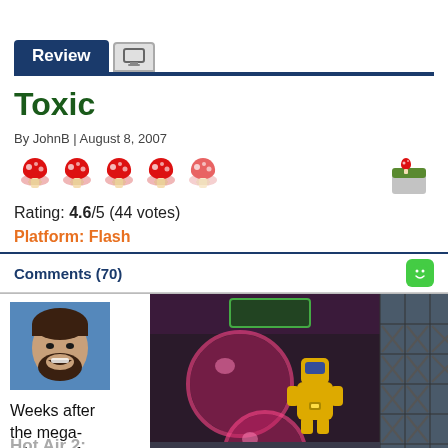Review
Toxic
By JohnB | August 8, 2007
[Figure (illustration): Five red mushroom rating icons (4 full, 1 partial/faded), a game tile icon on the right]
Rating: 4.6/5 (44 votes)
Platform: Flash
Comments (70)
[Figure (photo): Author photo: bearded man smiling, blue background]
[Figure (screenshot): Game screenshot showing a yellow robot character and large pink/red glowing spheres in a dark room with metal block walls]
Weeks after the mega-release of
Hot Air 2: All Blown